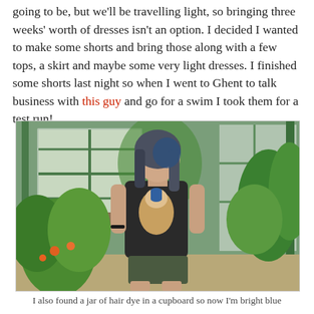going to be, but we'll be travelling light, so bringing three weeks' worth of dresses isn't an option. I decided I wanted to make some shorts and bring those along with a few tops, a skirt and maybe some very light dresses. I finished some shorts last night so when I went to Ghent to talk business with this guy and go for a swim I took them for a test run!
[Figure (photo): A young woman with long dark blue-tinted hair standing in a garden, wearing a black sleeveless tank top featuring a print of Vermeer's 'Girl with a Pearl Earring' and dark green shorts. Behind her is a wooden bench, greenhouse windows with green frames, and lush green garden plants including nasturtiums with orange flowers.]
I also found a jar of hair dye in a cupboard so now I'm bright blue